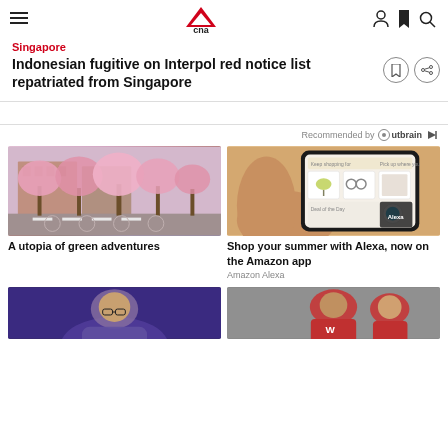CNA
Singapore
Indonesian fugitive on Interpol red notice list repatriated from Singapore
Recommended by Outbrain
[Figure (photo): A plaza with pink cherry blossom trees, white outdoor furniture, and brick buildings in the background]
A utopia of green adventures
[Figure (photo): A hand holding a smartphone showing an Amazon shopping app with Alexa]
Shop your summer with Alexa, now on the Amazon app
Amazon Alexa
[Figure (photo): A man speaking at a podium with purple/blue lighting background]
[Figure (photo): Football players in red Wisconsin uniforms]